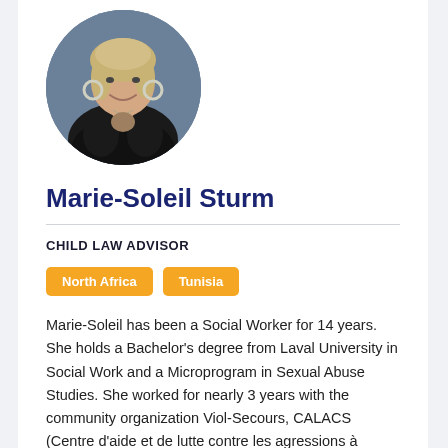[Figure (photo): Circular profile photo of Marie-Soleil Sturm, a woman with blonde hair wearing a black outfit and hoop earrings, photographed against a grey background.]
Marie-Soleil Sturm
CHILD LAW ADVISOR
North Africa  Tunisia
Marie-Soleil has been a Social Worker for 14 years. She holds a Bachelor's degree from Laval University in Social Work and a Microprogram in Sexual Abuse Studies. She worked for nearly 3 years with the community organization Viol-Secours, CALACS (Centre d'aide et de lutte contre les agressions à caractère sexuel) in the Quebec City...